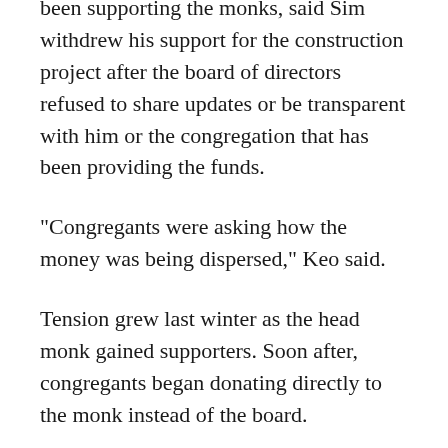Longime congregant Samitti Keo, who has been supporting the monks, said Sim withdrew his support for the construction project after the board of directors refused to share updates or be transparent with him or the congregation that has been providing the funds.
“Congregants were asking how the money was being dispersed,” Keo said.
Tension grew last winter as the head monk gained supporters. Soon after, congregants began donating directly to the monk instead of the board.
Ly said the situation became hostile toward the board, claiming the monk began to incite